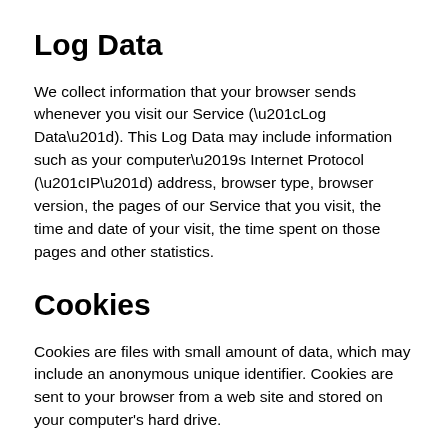Log Data
We collect information that your browser sends whenever you visit our Service (“Log Data”). This Log Data may include information such as your computer’s Internet Protocol (“IP”) address, browser type, browser version, the pages of our Service that you visit, the time and date of your visit, the time spent on those pages and other statistics.
Cookies
Cookies are files with small amount of data, which may include an anonymous unique identifier. Cookies are sent to your browser from a web site and stored on your computer’s hard drive.